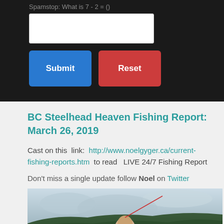Spamstop: What is 7 - 2 = ()
Submit
Reset
BC Steelhead Heaven Fishing Report: March 26, 2019
Cast on this  link:  http://www.noelgyger.ca/current-fishing-reports.htm  to read   LIVE 24/7 Fishing Report
Don't miss a single update follow Noel on Twitter
[Figure (photo): Outdoor fishing photo showing a person with a fishing rod against a cloudy sky and forested hills background]